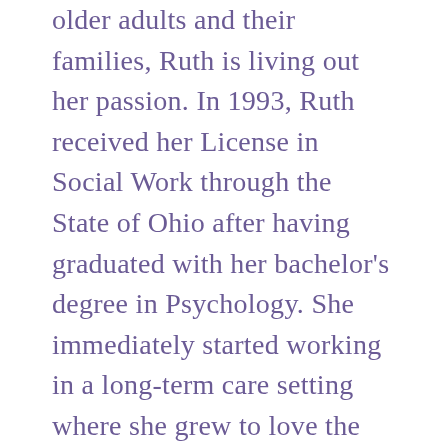older adults and their families, Ruth is living out her passion. In 1993, Ruth received her License in Social Work through the State of Ohio after having graduated with her bachelor's degree in Psychology. She immediately started working in a long-term care setting where she grew to love the residents and enjoyed working with family members. After marrying her husband, Dwight Force, in 1994 and moving out of state, she found work at the YWCA's Battered Women's and Children's Shelter later becoming their Crisis Line Counselor. Missing geriatrics, in 1996, Ruth received her master's degree in Psychology and started work in a Geri-psych outpatient setting; she has